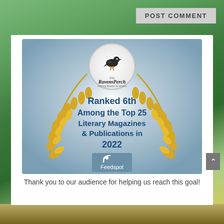POST COMMENT
[Figure (illustration): The Ravens Perch literary magazine award badge: gold laurel wreath on blue-grey gradient background, with a circular logo showing a raven perched on a yellow stand above text 'The RavensPerch Adding Breath to Words'. Center text reads 'Ranked 6th Among the Top 25 Literary Magazines & Publications in 2022'. Below the text is a Feedspot icon badge (RSS symbol with 'Feedspot' text on a blue background).]
Thank you to our audience for helping us reach this goal!